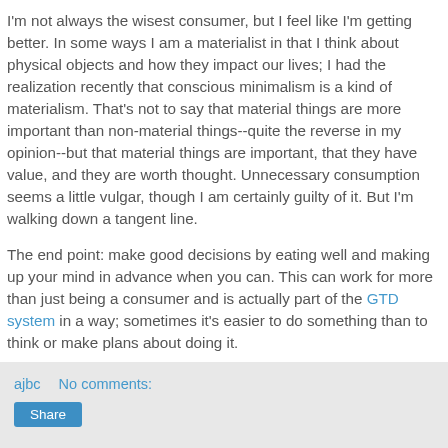I'm not always the wisest consumer, but I feel like I'm getting better.  In some ways I am a materialist in that I think about physical objects and how they impact our lives; I had the realization recently that conscious minimalism is a kind of materialism.  That's not to say that material things are more important than non-material things--quite the reverse in my opinion--but that material things are important, that they have value, and they are worth thought.  Unnecessary consumption seems a little vulgar, though I am certainly guilty of it.  But I'm walking down a tangent line.
The end point: make good decisions by eating well and making up your mind in advance when you can.  This can work for more than just being a consumer and is actually part of the GTD system in a way; sometimes it's easier to do something than to think or make plans about doing it.
ajbc   No comments:  Share